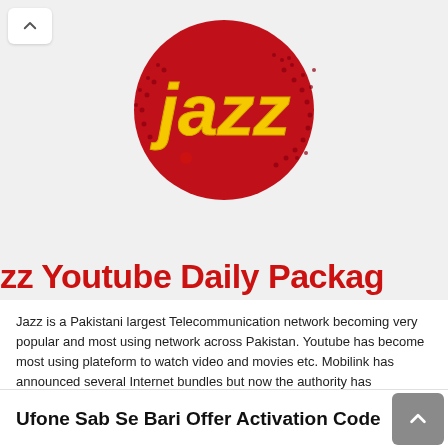[Figure (logo): Jazz telecom brand logo — yellow stylized 'jazz' text on a red circular dotted background]
zz Youtube Daily Package
Jazz is a Pakistani largest Telecommunication network becoming very popular and most using network across Pakistan. Youtube has become most using plateform to watch video and movies etc. Mobilink has announced several Internet bundles but now the authority has announced Jazz Youtube Daily Package 2022 Social Offer Activation Code check …
Read More »
Ufone Sab Se Bari Offer Activation Code